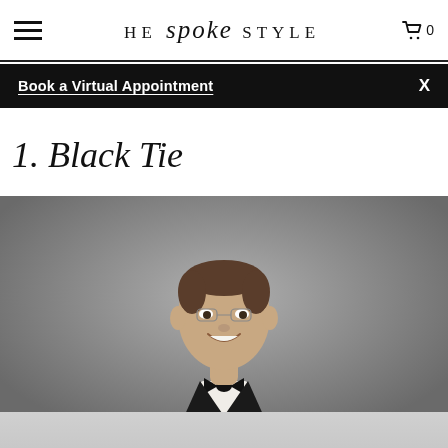HE spoke STYLE  🛒 0
Book a Virtual Appointment  X
1. Black Tie
[Figure (photo): Man wearing a black tuxedo with bow tie and white pocket square, smiling, photographed against a grey gradient background]